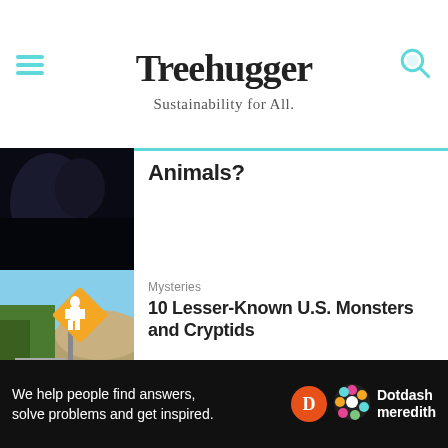Treehugger — Sustainability for All.
[Figure (photo): Dark silhouette image, partially cut off at top — article thumbnail]
Animals?
[Figure (photo): Bigfoot road warning sign on a rural road surrounded by trees]
Mysteries
10 Lesser-Known U.S. Monsters and Cryptids
[Figure (photo): A heron bird standing on rocks near water]
Wildlife
12 Surprising Flightless Birds
[Figure (photo): Partial thumbnail, bottom of page]
Animals
We help people find answers, solve problems and get inspired. Dotdash meredith